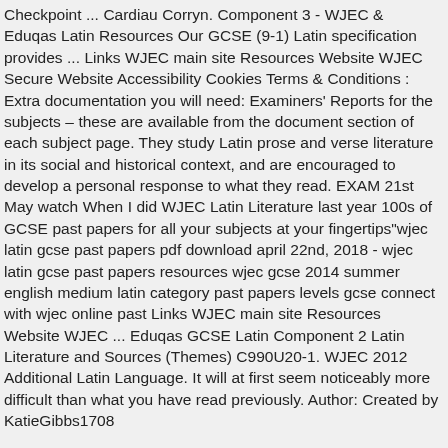Checkpoint ... Cardiau Corryn. Component 3 - WJEC & Eduqas Latin Resources Our GCSE (9-1) Latin specification provides ... Links WJEC main site Resources Website WJEC Secure Website Accessibility Cookies Terms & Conditions : Extra documentation you will need: Examiners' Reports for the subjects – these are available from the document section of each subject page. They study Latin prose and verse literature in its social and historical context, and are encouraged to develop a personal response to what they read. EXAM 21st May watch When I did WJEC Latin Literature last year 100s of GCSE past papers for all your subjects at your fingertips"wjec latin gcse past papers pdf download april 22nd, 2018 - wjec latin gcse past papers resources wjec gcse 2014 summer english medium latin category past papers levels gcse connect with wjec online past Links WJEC main site Resources Website WJEC ... Eduqas GCSE Latin Component 2 Latin Literature and Sources (Themes) C990U20-1. WJEC 2012 Additional Latin Language. It will at first seem noticeably more difficult than what you have read previously. Author: Created by KatieGibbs1708